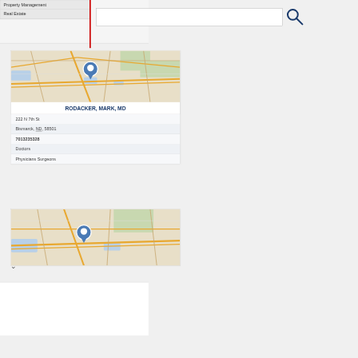Property Management
Real Estate
[Figure (screenshot): Search bar with magnifying glass icon on grey background]
[Figure (map): Street map of Bismarck ND area with blue location pin marker]
RODACKER, MARK, MD
222 N 7th St
Bismarck, ND, 58501
7013235328
Doctors
Physicians Surgeons
[Figure (map): Street map of Bismarck ND area with blue location pin marker, second listing]
Central Roofing
Helping With Your Roofing Needs! Call Us Today For A Free Estimate. www.centralexteriors.com/